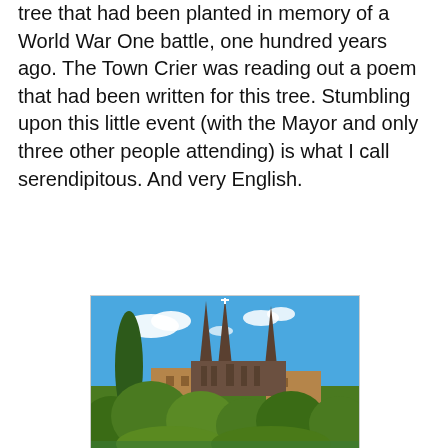tree that had been planted in memory of a World War One battle, one hundred years ago. The Town Crier was reading out a poem that had been written for this tree. Stumbling upon this little event (with the Mayor and only three other people attending) is what I call serendipitous. And very English.
[Figure (photo): A photograph showing three tall Gothic spires of a cathedral (likely Lichfield Cathedral) rising above green trees and shrubbery, with red brick buildings visible at the base and a bright blue sky with white clouds in the background.]